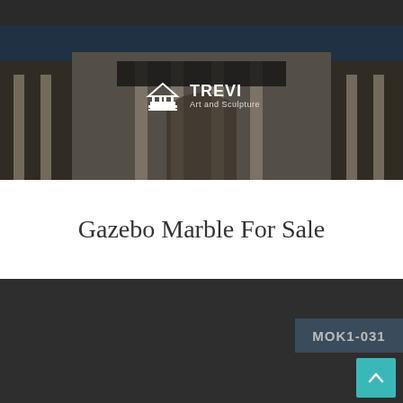[Figure (photo): Header banner with dark background showing a classical neoclassical building facade with columns and ornate architectural details. TREVI Art and Sculpture logo overlaid in the center.]
Gazebo Marble For Sale
[Figure (photo): Dark bottom section of webpage with a product code badge 'MOK1-031' in the lower right and a teal scroll-to-top button with upward arrow.]